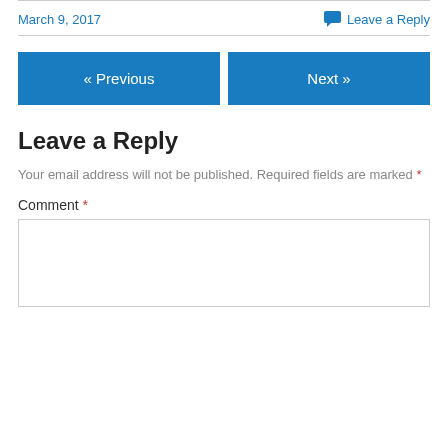March 9, 2017
Leave a Reply
« Previous
Next »
Leave a Reply
Your email address will not be published. Required fields are marked *
Comment *